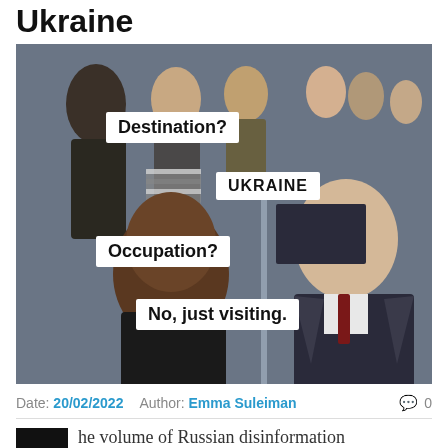Ukraine
[Figure (photo): A meme image showing two people at what appears to be a customs/immigration counter. Text overlays read: 'Destination?' 'UKRAINE' 'Occupation?' 'No, just visiting.']
Date: 20/02/2022  Author: Emma Suleiman  0
he volume of Russian disinformation